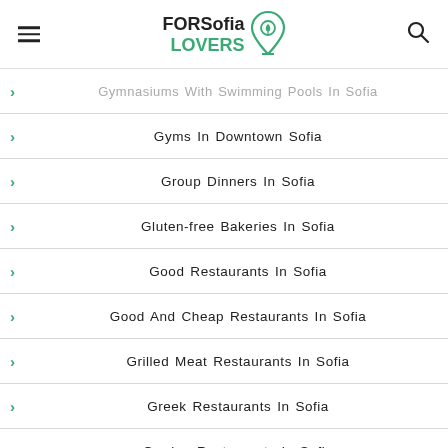FOR Sofia LOVERS
Gymnasiums With Swimming Pools In Sofia
Gyms In Downtown Sofia
Group Dinners In Sofia
Gluten-free Bakeries In Sofia
Good Restaurants In Sofia
Good And Cheap Restaurants In Sofia
Grilled Meat Restaurants In Sofia
Greek Restaurants In Sofia
Garden Restaurants In Sofia